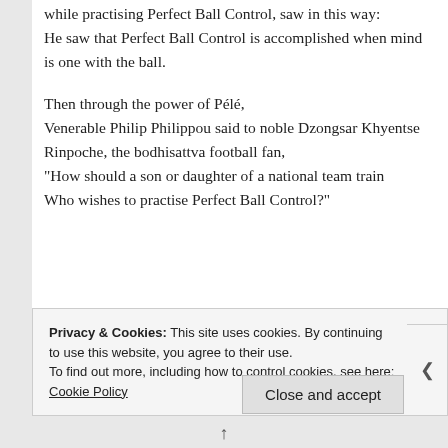while practising Perfect Ball Control, saw in this way:
He saw that Perfect Ball Control is accomplished when mind is one with the ball.
Then through the power of Pélé,
Venerable Philip Philippou said to noble Dzongsar Khyentse Rinpoche, the bodhisattva football fan,
"How should a son or daughter of a national team train
Who wishes to practise Perfect Ball Control?"
Privacy & Cookies: This site uses cookies. By continuing to use this website, you agree to their use.
To find out more, including how to control cookies, see here: Cookie Policy